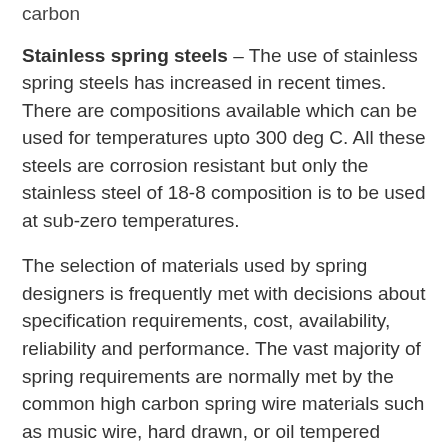carbon
Stainless spring steels – The use of stainless spring steels has increased in recent times. There are compositions available which can be used for temperatures upto 300 deg C. All these steels are corrosion resistant but only the stainless steel of 18-8 composition is to be used at sub-zero temperatures.
The selection of materials used by spring designers is frequently met with decisions about specification requirements, cost, availability, reliability and performance. The vast majority of spring requirements are normally met by the common high carbon spring wire materials such as music wire, hard drawn, or oil tempered carbon steels etc. These raw materials can meet many of the requirements of strength, reliability, cost, and availability. The starting materials for the production of